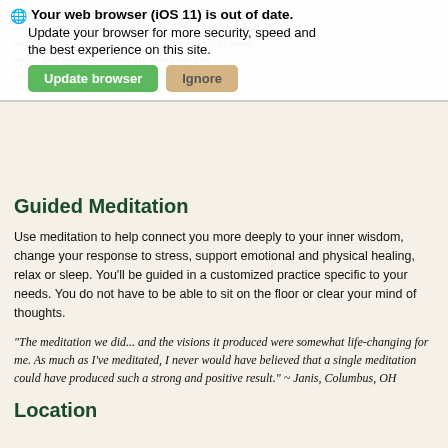"The results were incredibly powerful... It was such an amazing experience. I came (to The Green Infinity) with incredible tools to work with... it really helped to block really, and simply returned my creativity and openness has expanded..." ~ Randy, Richmond, VA
Guided Meditation
Use meditation to help connect you more deeply to your inner wisdom, change your response to stress, support emotional and physical healing, relax or sleep. You'll be guided in a customized practice specific to your needs. You do not have to be able to sit on the floor or clear your mind of thoughts.
“The meditation we did... and the visions it produced were somewhat life-changing for me. As much as I’ve meditated, I never would have believed that a single meditation could have produced such a strong and positive result.” ~ Janis, Columbus, OH
Location